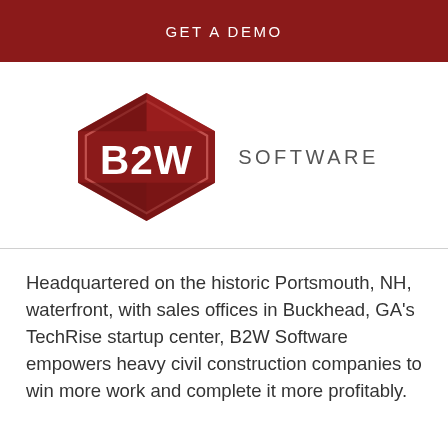GET A DEMO
[Figure (logo): B2W Software logo — red hexagon shape with 'B2W' text inside, followed by 'SOFTWARE' text to the right]
Headquartered on the historic Portsmouth, NH, waterfront, with sales offices in Buckhead, GA's TechRise startup center, B2W Software empowers heavy civil construction companies to win more work and complete it more profitably.